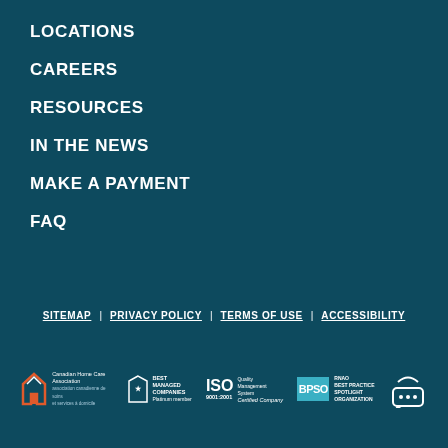LOCATIONS
CAREERS
RESOURCES
IN THE NEWS
MAKE A PAYMENT
FAQ
SITEMAP | PRIVACY POLICY | TERMS OF USE | ACCESSIBILITY
[Figure (logo): Row of certification and association logos: Canadian Home Care Association, Best Managed Companies Platinum Member, ISO 9001:2001 Quality Management System Certified Company, RNAO BPSO Best Practice Spotlight Organization, and a chat bubble icon]